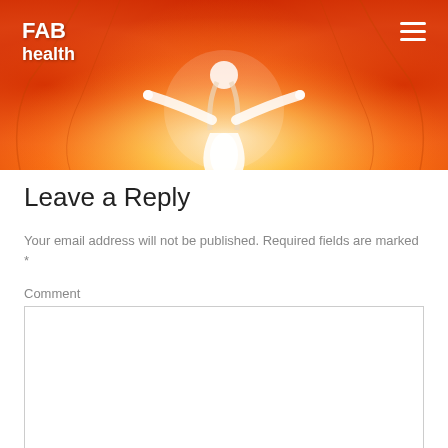[Figure (illustration): FAB Health website header banner with orange and red flame background, a glowing figure with arms raised in the center, FAB health logo on the top left, and hamburger menu icon on the top right]
Leave a Reply
Your email address will not be published. Required fields are marked *
Comment